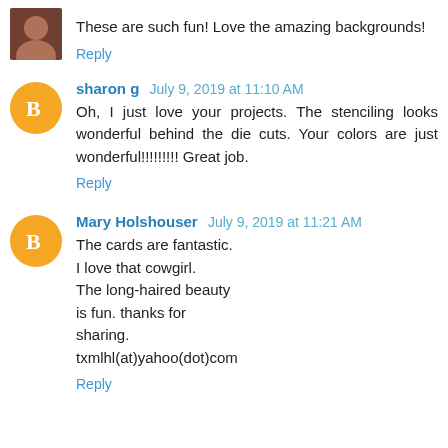[Figure (photo): Small square avatar photo of a person, top-left corner]
These are such fun! Love the amazing backgrounds!
Reply
[Figure (illustration): Orange circle avatar with white blogger 'B' icon for sharon g]
sharon g July 9, 2019 at 11:10 AM
Oh, I just love your projects. The stenciling looks wonderful behind the die cuts. Your colors are just wonderful!!!!!!!!! Great job.
Reply
[Figure (illustration): Orange circle avatar with white blogger 'B' icon for Mary Holshouser]
Mary Holshouser July 9, 2019 at 11:21 AM
The cards are fantastic.
I love that cowgirl.
The long-haired beauty
is fun. thanks for
sharing.
txmlhl(at)yahoo(dot)com
Reply